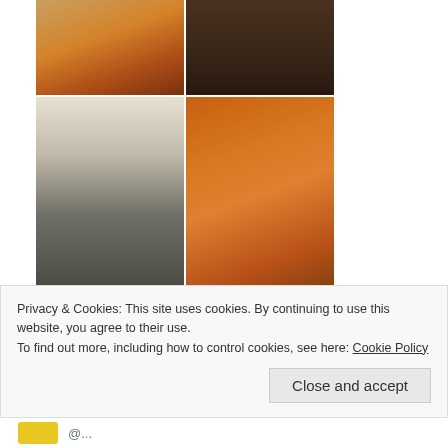[Figure (photo): Grid of 4 photos: top-left shows fire/flames in warm tones, top-right shows a dark animal silhouette, bottom-left is a black and white photo of people with luggage, bottom-right shows an orange-sky wildfire scene with a person on a road]
1
[Figure (photo): StereoType account avatar - yellow hexagonal logo on circular background]
StereoTy... @... · Jun 13
Foto appena pubblicata @ London, United Kingdom
Privacy & Cookies: This site uses cookies. By continuing to use this website, you agree to their use.
To find out more, including how to control cookies, see here: Cookie Policy
Close and accept